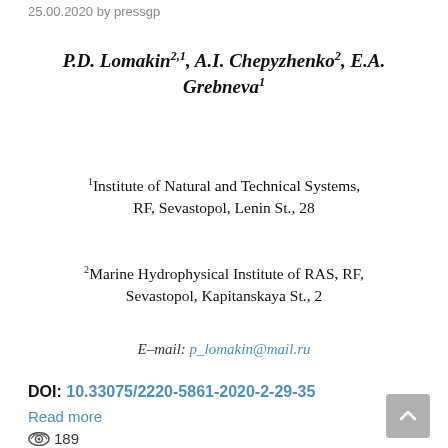25.00.2020 by pressgp
P.D. Lomakin2,1, A.I. Chepyzhenko2, E.A. Grebneva1
1Institute of Natural and Technical Systems, RF, Sevastopol, Lenin St., 28
2Marine Hydrophysical Institute of RAS, RF, Sevastopol, Kapitanskaya St., 2
E–mail: p_lomakin@mail.ru
DOI: 10.33075/2220-5861-2020-2-29-35
Read more
189